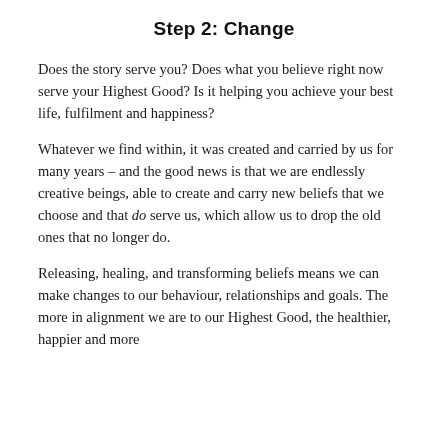Step 2: Change
Does the story serve you? Does what you believe right now serve your Highest Good? Is it helping you achieve your best life, fulfilment and happiness?
Whatever we find within, it was created and carried by us for many years – and the good news is that we are endlessly creative beings, able to create and carry new beliefs that we choose and that do serve us, which allow us to drop the old ones that no longer do.
Releasing, healing, and transforming beliefs means we can make changes to our behaviour, relationships and goals. The more in alignment we are to our Highest Good, the healthier, happier and more